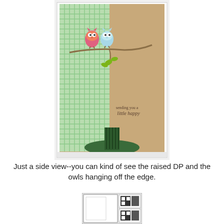[Figure (photo): Side view of a handmade greeting card displayed on a vintage green metal stand. The card features a kraft cardstock background with a green gingham patterned panel on the left side. Two owls (one pink/orange, one light blue) are stamped sitting on a branch with green leaves. Text on the card reads 'sending you a little happy'.]
Just a side view--you can kind of see the raised DP and the owls hanging off the edge.
[Figure (photo): Small thumbnail image showing a card design with a white rectangular panel and QR codes on the right side.]